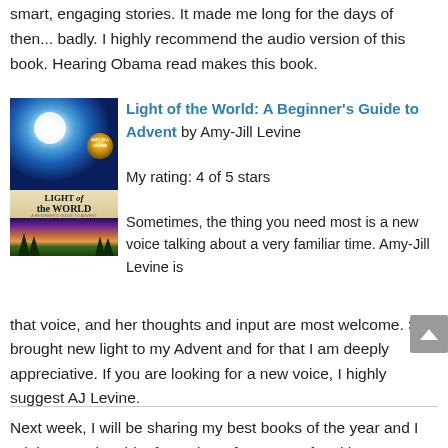smart, engaging stories. It made me long for the days of then... badly. I highly recommend the audio version of this book. Hearing Obama read makes this book.
[Figure (photo): Book cover of 'Light of the World: A Beginner's Guide to Advent' by Amy-Jill Levine. Top half shows a radiant star/light in a dark blue sky. Middle has a tan banner with the title text 'LIGHT of the WORLD' and a subtitle. Bottom half shows a landscape with colorful aurora-like sky and trees.]
Light of the World: A Beginner's Guide to Advent by Amy-Jill Levine
My rating: 4 of 5 stars
Sometimes, the thing you need most is a new voice talking about a very familiar time. Amy-Jill Levine is that voice, and her thoughts and input are most welcome. She brought new light to my Advent and for that I am deeply appreciative. If you are looking for a new voice, I highly suggest AJ Levine.
Next week, I will be sharing my best books of the year and I might even do a bit of a review of my year of making.